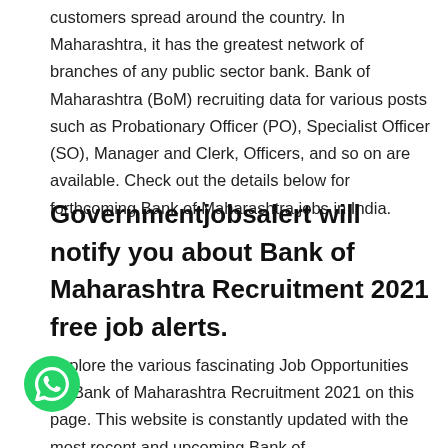customers spread around the country. In Maharashtra, it has the greatest network of branches of any public sector bank. Bank of Maharashtra (BoM) recruiting data for various posts such as Probationary Officer (PO), Specialist Officer (SO), Manager and Clerk, Officers, and so on are available. Check out the details below for forthcoming Bank of Maharashtra jobs in India.
Governmentjobsalert will notify you about Bank of Maharashtra Recruitment 2021 free job alerts.
Explore the various fascinating Job Opportunities on Bank of Maharashtra Recruitment 2021 on this page. This website is constantly updated with the most recent and upcoming Bank of Maharashtra Recruitment 2021 Notifications. So keep coming back to our page to learn about the latest and upcoming Bank of